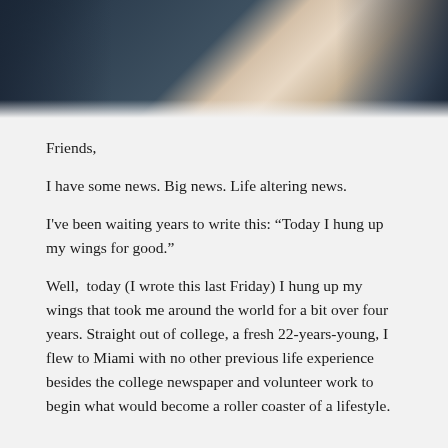[Figure (photo): Partial photo of a person in a white shirt against a dark blue/navy background, cropped at the top of the page]
Friends,
I have some news. Big news. Life altering news.
I've been waiting years to write this: “Today I hung up my wings for good.”
Well,  today (I wrote this last Friday) I hung up my wings that took me around the world for a bit over four years. Straight out of college, a fresh 22-years-young, I flew to Miami with no other previous life experience besides the college newspaper and volunteer work to begin what would become a roller coaster of a lifestyle.